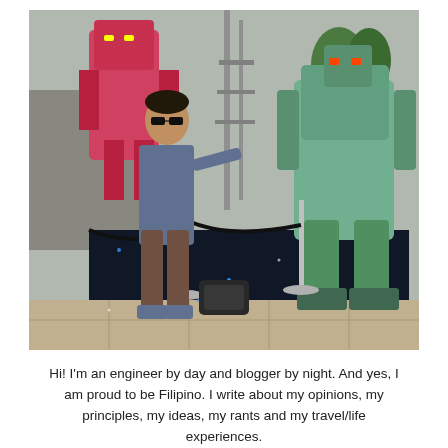[Figure (photo): A young man wearing sunglasses and a blue shirt stands next to large Gundam robot figurines/statues on a star-patterned display platform outdoors. A pink/red Gundam is visible in the background and a green Gundam stands to his right. There are metal stanchions with black rope barriers. Trees and buildings are visible in the background.]
Hi! I'm an engineer by day and blogger by night. And yes, I am proud to be Filipino. I write about my opinions, my principles, my ideas, my rants and my travel/life experiences.